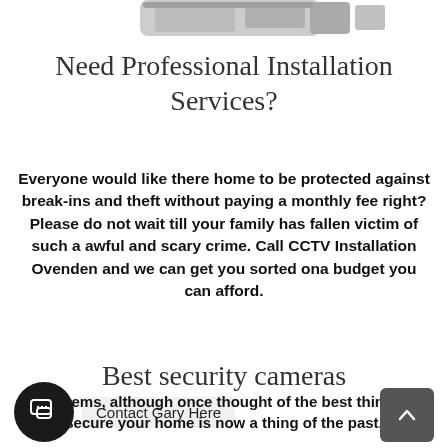[Figure (photo): Partial view of security camera hardware at the top of the page]
Need Professional Installation Services?
Everyone would like there home to be protected against break-ins and theft without paying a monthly fee right? Please do not wait till your family has fallen victim of such a awful and scary crime. Call CCTV Installation Ovenden and we can get you sorted ona budget you can afford.
Best security cameras
n systems, although once thought of the best things to secure your home is now a thing of the past.